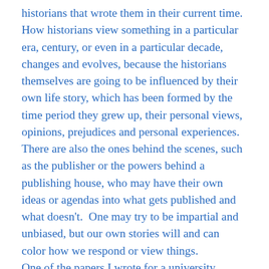historians that wrote them in their current time. How historians view something in a particular era, century, or even in a particular decade, changes and evolves, because the historians themselves are going to be influenced by their own life story, which has been formed by the time period they grew up, their personal views, opinions, prejudices and personal experiences. There are also the ones behind the scenes, such as the publisher or the powers behind a publishing house, who may have their own ideas or agendas into what gets published and what doesn't. One may try to be impartial and unbiased, but our own stories will and can color how we respond or view things. One of the papers I wrote for a university history class compiled how the historical perspectives changed over time regarding Booker T. Washington and W. E. B. Dubois and their roles in the civil rights movement. Both hold a significant place in American history and African